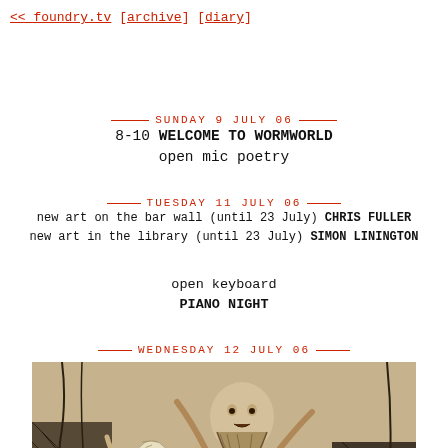<< foundry.tv [archive] [diary]
SUNDAY 9 JULY 06
8-10 WELCOME TO WORMWORLD
open mic poetry
TUESDAY 11 JULY 06
new art on the bar wall (until 23 July) CHRIS FULLER
new art in the library (until 23 July) SIMON LININGTON
open keyboard
PIANO NIGHT
WEDNESDAY 12 JULY 06
[Figure (illustration): Black and white ink drawing depicting figures including a bearded man and women in a dramatic, expressive style]